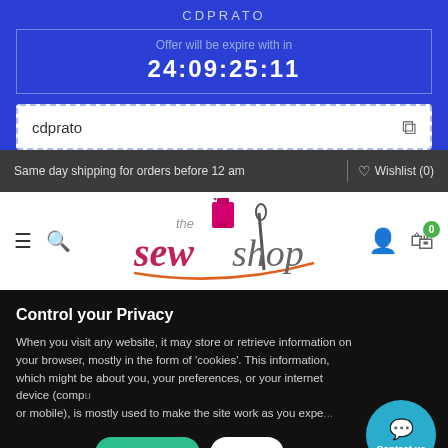CDPRATO
Offer will be expire with in
24:09:25:11
cdprato
Same day shipping for orders before 12 am
Wishlist (0)
[Figure (logo): The Sew Shop logo with sewing needle and thread, cursive script]
Control your Privacy
When you visit any website, it may store or retrieve information on your browser, mostly in the form of 'cookies'. This information, which might be about you, your preferences, or your internet device (computer or mobile), is mostly used to make the site work as you expe...
More info
Accept all
Reje...
Contact us